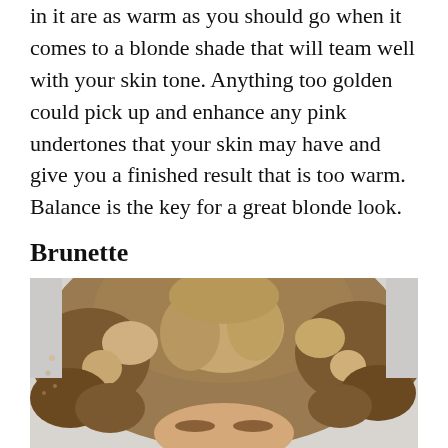in it are as warm as you should go when it comes to a blonde shade that will team well with your skin tone. Anything too golden could pick up and enhance any pink undertones that your skin may have and give you a finished result that is too warm. Balance is the key for a great blonde look.
Brunette
[Figure (photo): A woman with voluminous curly brunette hair with lighter blonde highlights, viewed from slightly above, against a light grey background. The image is cropped to show primarily the hair and top of the face.]